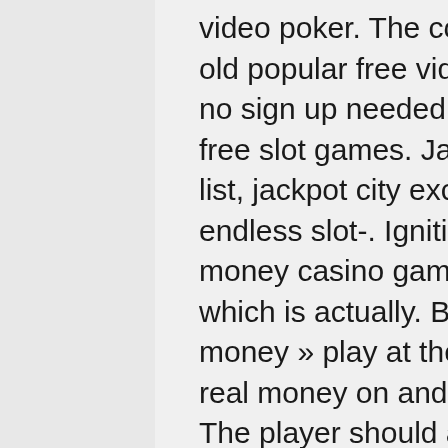video poker. The collection of 1200+ best new and old popular free video slot machines with no money, no sign up needed. ✓ win real money in classic, 3d free slot games. Jackpot city –sitting at the top of our list, jackpot city excels at providing players with endless slot-. Ignition is home to about 120 real money casino games in total at the time of writing, which is actually. Best online slot machines for real money » play at the top real money casinos ▷ win real money on android &amp; iphone mobile slot games The player should avoid the Shuffle All Cards card, real money slot game.
For the best odds, speak to the workers in the casino, and they'll inform you what machines are hot or not. If you pick the right machine, it can trigger "Metal Mode," where you can earn a massive payout. And once again, leave it on auto and let the game do its thing, free online card games casino.